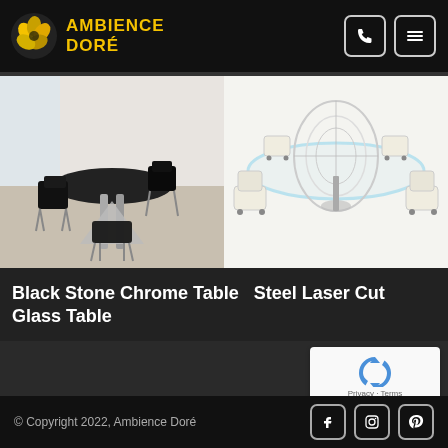Ambience Doré — navigation header with logo, phone icon, menu icon
[Figure (photo): Two product photos side by side: left shows a round black stone table with chrome base and black chairs; right shows a steel laser-cut glass conference table with white chairs on wheels]
Black Stone Chrome Table Steel Laser Cut Glass Table
[Figure (other): reCAPTCHA widget with Privacy and Terms links]
© Copyright 2022, Ambience Doré — with Facebook, Instagram, Pinterest social icons